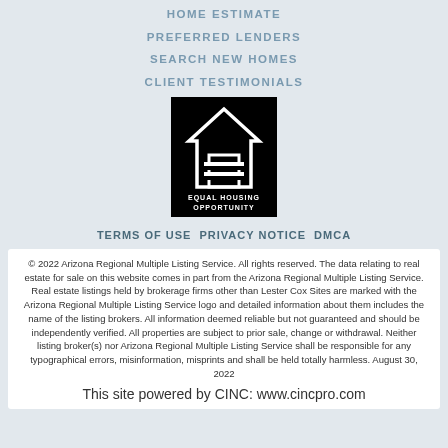HOME ESTIMATE
PREFERRED LENDERS
SEARCH NEW HOMES
CLIENT TESTIMONIALS
[Figure (logo): Equal Housing Opportunity logo — white house outline with equals sign on black background]
TERMS OF USE PRIVACY NOTICE DMCA
© 2022 Arizona Regional Multiple Listing Service. All rights reserved. The data relating to real estate for sale on this website comes in part from the Arizona Regional Multiple Listing Service. Real estate listings held by brokerage firms other than Lester Cox Sites are marked with the Arizona Regional Multiple Listing Service logo and detailed information about them includes the name of the listing brokers. All information deemed reliable but not guaranteed and should be independently verified. All properties are subject to prior sale, change or withdrawal. Neither listing broker(s) nor Arizona Regional Multiple Listing Service shall be responsible for any typographical errors, misinformation, misprints and shall be held totally harmless. August 30, 2022
This site powered by CINC: www.cincpro.com